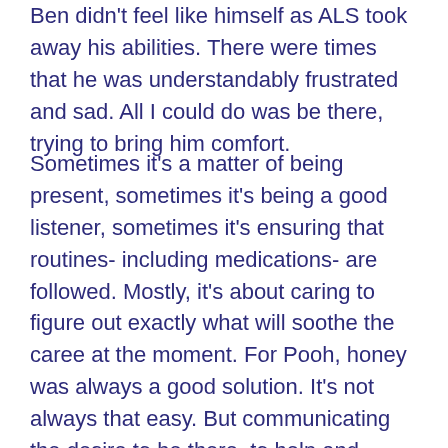Ben didn't feel like himself as ALS took away his abilities. There were times that he was understandably frustrated and sad. All I could do was be there, trying to bring him comfort.
Sometimes it's a matter of being present, sometimes it's being a good listener, sometimes it's ensuring that routines- including medications- are followed. Mostly, it's about caring to figure out exactly what will soothe the caree at the moment. For Pooh, honey was always a good solution. It's not always that easy. But communicating the desire to be there, to help and support, can only strengthen a bond. Although we could lose patience with each other, and sometimes we both needed our moments to feel down, Ben knew that I would always at least try to find the thing that would